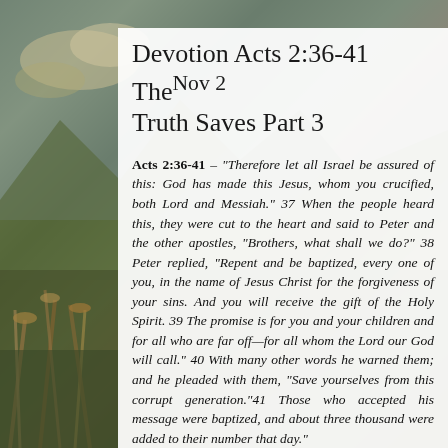Devotion Acts 2:36-41 The Nov 2 Truth Saves Part 3
Acts 2:36-41 – "Therefore let all Israel be assured of this: God has made this Jesus, whom you crucified, both Lord and Messiah." 37 When the people heard this, they were cut to the heart and said to Peter and the other apostles, "Brothers, what shall we do?" 38 Peter replied, "Repent and be baptized, every one of you, in the name of Jesus Christ for the forgiveness of your sins. And you will receive the gift of the Holy Spirit. 39 The promise is for you and your children and for all who are far off—for all whom the Lord our God will call." 40 With many other words he warned them; and he pleaded with them, "Save yourselves from this corrupt generation."41 Those who accepted his message were baptized, and about three thousand were added to their number that day."